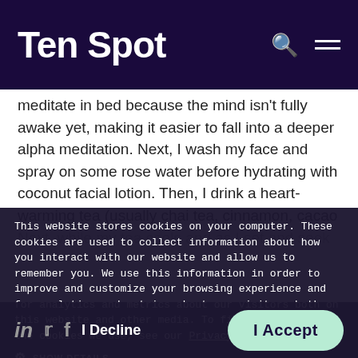Ten Spot
meditate in bed because the mind isn't fully awake yet, making it easier to fall into a deeper alpha meditation. Next, I wash my face and spray on some rose water before hydrating with coconut facial lotion. Then, I drink a heart-warming tea (usually chai tea, cinnamon, cacao and a little bit of almond milk) while setting an...
This website stores cookies on your computer. These cookies are used to collect information about how you interact with our website and allow us to remember you. We use this information in order to improve and customize your browsing experience and for analytics and metrics about our visitors both on this website and other media. To find out more about the cookies we use, see our Privacy Policy
SHOW DETAILS
I Decline
I Accept